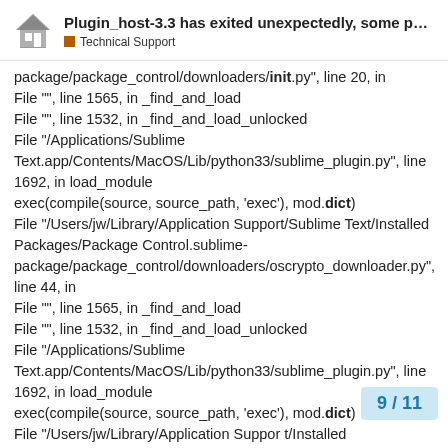Plugin_host-3.3 has exited unexpectedly, some p… | Technical Support
package/package_control/downloaders/init.py", line 20, in
File "", line 1565, in _find_and_load
File "", line 1532, in _find_and_load_unlocked
File "/Applications/Sublime Text.app/Contents/MacOS/Lib/python33/sublime_plugin.py", line 1692, in load_module
exec(compile(source, source_path, 'exec'), mod.dict)
File "/Users/jw/Library/Application Support/Sublime Text/Installed Packages/Package Control.sublime-package/package_control/downloaders/oscrypto_downloader.py", line 44, in
File "", line 1565, in _find_and_load
File "", line 1532, in _find_and_load_unlocked
File "/Applications/Sublime Text.app/Contents/MacOS/Lib/python33/sublime_plugin.py", line 1692, in load_module
exec(compile(source, source_path, 'exec'), mod.dict)
File "/Users/jw/Library/Application Support/Sublime Text/Installed Packages/Package Control
9 / 11